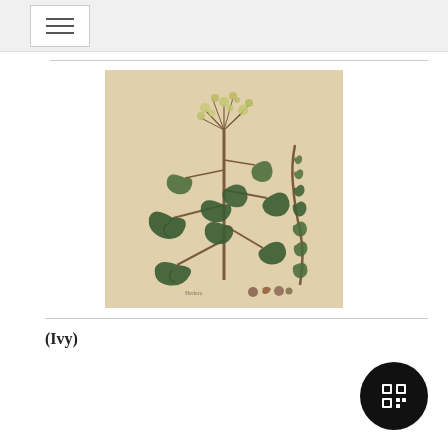Navigation menu button
[Figure (illustration): Vintage botanical illustration of Ivy (Hedera helix) showing a plant with dark green lobed leaves, a central stem with flower clusters at the top, and a climbing branch with smaller leaves on the right. Small seed/fruit detail drawings appear at the bottom. The illustration has a warm aged parchment/sepia background tone.]
(Ivy)